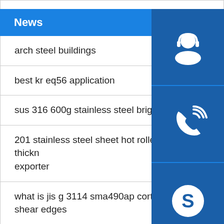News
arch steel buildings
best kr eq56 application
sus 316 600g stainless steel bright pipe price
201 stainless steel sheet hot rolled 10mm thickness exporter
what is jis g 3114 sma490ap corten steel with shear edges
weather resistanting iron weathering plate used for railway
[Figure (infographic): Three blue square buttons stacked vertically on the right side: customer service (headset person icon), phone/call icon, and Skype icon]